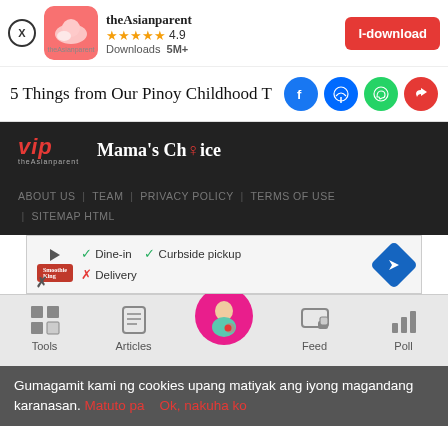[Figure (screenshot): App install banner for theAsianparent with icon, 4.9 star rating, 5M+ downloads, and I-download button]
5 Things from Our Pinoy Childhood T
[Figure (infographic): Social share icons: Facebook, Messenger, WhatsApp, Share]
[Figure (logo): VIP logo and Mama's Choice logo on dark background]
ABOUT US | TEAM | PRIVACY POLICY | TERMS OF USE | SITEMAP HTML
[Figure (screenshot): Ad banner with Smoothie King showing Dine-in checkmark, Curbside pickup checkmark, Delivery X, with navigation arrow]
[Figure (infographic): Bottom navigation bar with Tools, Articles, home (pregnant woman), Feed, Poll icons]
Gumagamit kami ng cookies upang matiyak ang iyong magandang karanasan. Matuto pa    Ok, nakuha ko